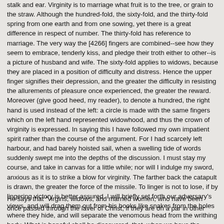stalk and ear. Virginity is to marriage what fruit is to the tree, or grain to the straw. Although the hundred-fold, the sixty-fold, and the thirty-fold spring from one earth and from one sowing, yet there is a great difference in respect of number. The thirty-fold has reference to marriage. The very way the [4266] fingers are combined--see how they seem to embrace, tenderly kiss, and pledge their troth either to other--is a picture of husband and wife. The sixty-fold applies to widows, because they are placed in a position of difficulty and distress. Hence the upper finger signifies their depression, and the greater the difficulty in resisting the allurements of pleasure once experienced, the greater the reward. Moreover (give good heed, my reader), to denote a hundred, the right hand is used instead of the left: a circle is made with the same fingers which on the left hand represented widowhood, and thus the crown of virginity is expressed. In saying this I have followed my own impatient spirit rather than the course of the argument. For I had scarcely left harbour, and had barely hoisted sail, when a swelling tide of words suddenly swept me into the depths of the discussion. I must stay my course, and take in canvas for a little while; nor will I indulge my sword, anxious as it is to strike a blow for virginity. The farther back the catapult is drawn, the greater the force of the missile. To linger is not to lose, if by lingering victory is better assured. I will briefly set forth our adversary's views, and will drag them out from his books like snakes from the holes where they hide, and will separate the venomous head from the writhing body. What is baneful shall be discovered, that, when we have the power, it may be crushed.
He says that "virgins, widows, and married women, who have been once passed through the laver of Christ, if they are on a par in other